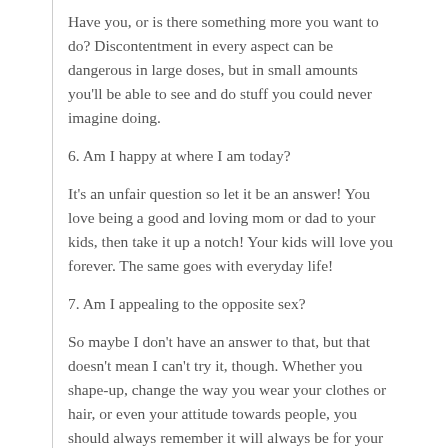Have you, or is there something more you want to do? Discontentment in every aspect can be dangerous in large doses, but in small amounts you'll be able to see and do stuff you could never imagine doing.
6. Am I happy at where I am today?
It's an unfair question so let it be an answer! You love being a good and loving mom or dad to your kids, then take it up a notch! Your kids will love you forever. The same goes with everyday life!
7. Am I appealing to the opposite sex?
So maybe I don't have an answer to that, but that doesn't mean I can't try it, though. Whether you shape-up, change the way you wear your clothes or hair, or even your attitude towards people, you should always remember it will always be for your own benefit.